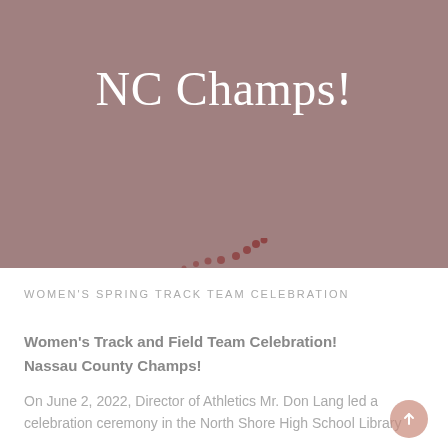NC Champs!
[Figure (illustration): Decorative arc of small dark red/maroon dots arranged in a smile/arc pattern, transitioning from larger dots on the right to smaller dots on the left]
WOMEN'S SPRING TRACK TEAM CELEBRATION
Women's Track and Field Team Celebration!
Nassau County Champs!
On June 2, 2022, Director of Athletics Mr. Don Lang led a celebration ceremony in the North Shore High School Library